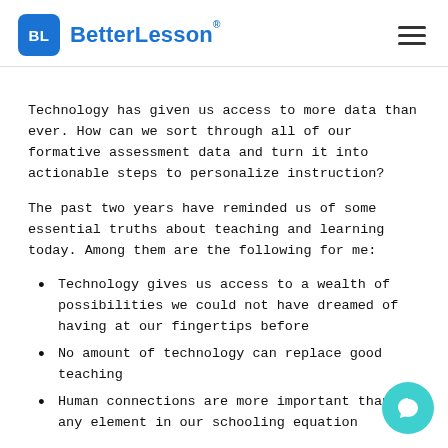BetterLesson®
Technology has given us access to more data than ever. How can we sort through all of our formative assessment data and turn it into actionable steps to personalize instruction?
The past two years have reminded us of some essential truths about teaching and learning today. Among them are the following for me:
Technology gives us access to a wealth of possibilities we could not have dreamed of having at our fingertips before
No amount of technology can replace good teaching
Human connections are more important than any element in our schooling equation